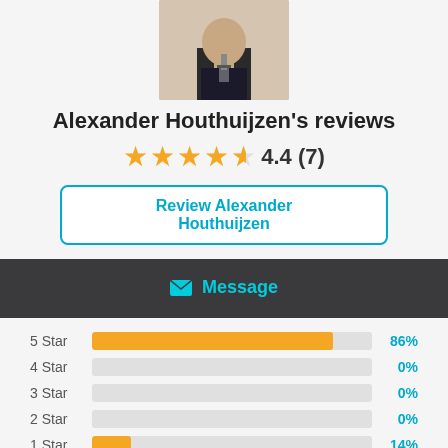[Figure (photo): Profile photo of Alexander Houthuijzen, man in dark suit with tie]
Alexander Houthuijzen's reviews
4.4 (7) — 4.4 star rating with 7 reviews
Review Alexander Houthuijzen
Message
[Figure (bar-chart): Star rating breakdown]